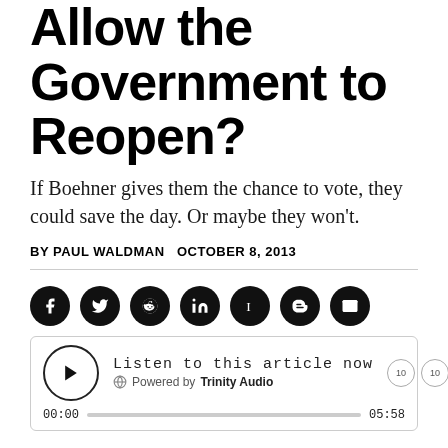Allow the Government to Reopen?
If Boehner gives them the chance to vote, they could save the day. Or maybe they won't.
BY PAUL WALDMAN   OCTOBER 8, 2013
[Figure (other): Social sharing buttons: Facebook, Twitter, Reddit, LinkedIn, Instapaper, Blogger, Email]
[Figure (other): Audio player: Listen to this article now. Powered by Trinity Audio. 00:00 / 05:58. Speed 1.0x]
The latest rhetorical tool the President and his allies are using is the